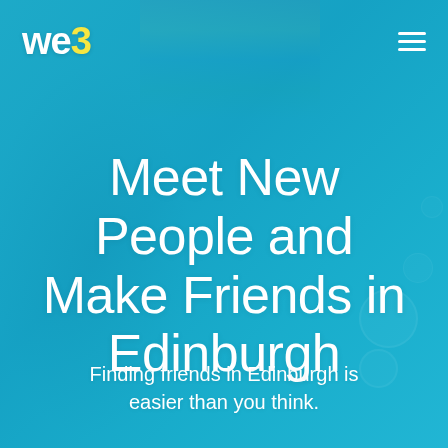[Figure (photo): Background photo of people celebrating outdoors with flags, overlaid with a teal/cyan blue color overlay. Bubbles visible on the right side.]
we3
Meet New People and Make Friends in Edinburgh
Finding friends in Edinburgh is easier than you think.